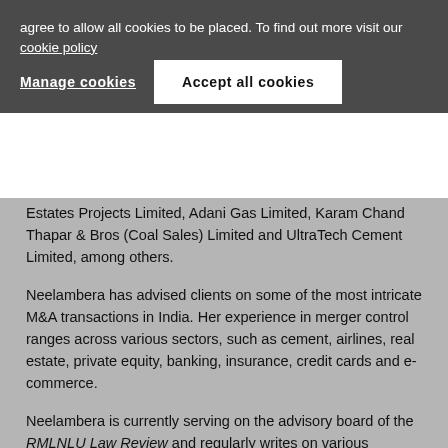agree to allow all cookies to be placed. To find out more visit our cookie policy
Manage cookies
Accept all cookies
Estates Projects Limited, Adani Gas Limited, Karam Chand Thapar & Bros (Coal Sales) Limited and UltraTech Cement Limited, among others.
Neelambera has advised clients on some of the most intricate M&A transactions in India. Her experience in merger control ranges across various sectors, such as cement, airlines, real estate, private equity, banking, insurance, credit cards and e-commerce.
Neelambera is currently serving on the advisory board of the RMLNLU Law Review and regularly writes on various aspects of Indian competition law in national and international publications.